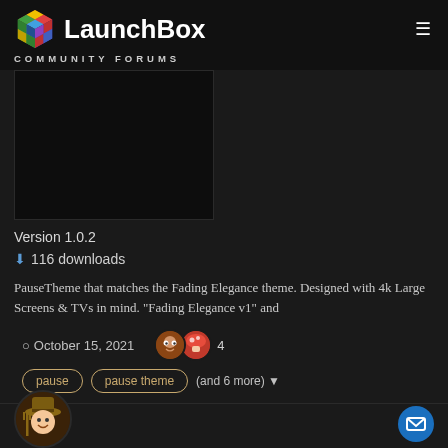LaunchBox COMMUNITY FORUMS
[Figure (screenshot): Dark preview image of a pause theme for LaunchBox]
Version 1.0.2
116 downloads
PauseTheme that matches the Fading Elegance theme. Designed with 4k Large Screens & TVs in mind. "Fading Elegance v1" and
October 15, 2021   4
pause   pause theme   (and 6 more)